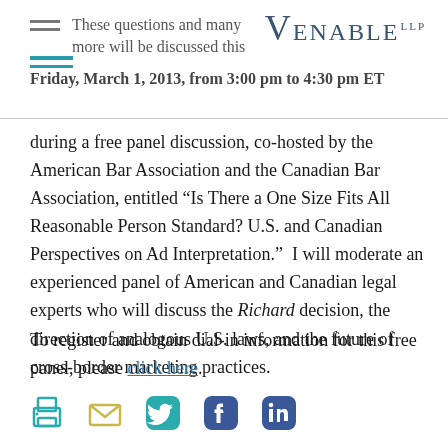These questions and many more will be discussed this Friday, March 1, 2013, from 3:00 pm to 4:30 pm ET
[Figure (logo): Venable LLP law firm logo in teal/navy serif font]
during a free panel discussion, co-hosted by the American Bar Association and the Canadian Bar Association, entitled “Is There a One Size Fits All Reasonable Person Standard? U.S. and Canadian Perspectives on Ad Interpretation.”  I will moderate an experienced panel of American and Canadian legal experts who will discuss the Richard decision, the direction of analogous U.S. laws, and the future of cross-border marketing practices.
To register and obtain dial-in information for this free panel, please click here.
[Figure (infographic): Row of social media sharing icons: print, email, Twitter, Facebook, LinkedIn]